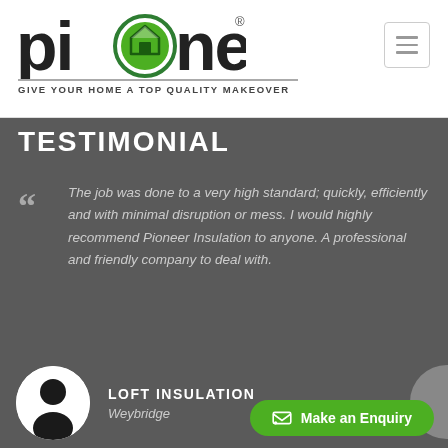[Figure (logo): Pioneer insulation company logo with green house icon integrated into the letter 'o', bold lowercase text 'pioneer' with registered trademark symbol]
GIVE YOUR HOME A TOP QUALITY MAKEOVER
TESTIMONIAL
The job was done to a very high standard; quickly, efficiently and with minimal disruption or mess. I would highly recommend Pioneer Insulation to anyone. A professional and friendly company to deal with.
LOFT INSULATION
Weybridge
Make an Enquiry